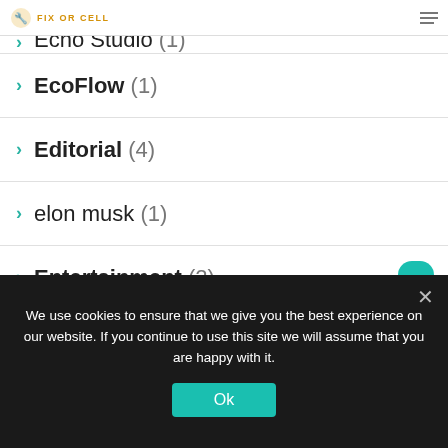Fix Or Cell
Echo Studio (1)
EcoFlow (1)
Editorial (4)
elon musk (1)
Entertainment (2)
Epic Games (1)
exynos (1)
Face ID (1)
We use cookies to ensure that we give you the best experience on our website. If you continue to use this site we will assume that you are happy with it.